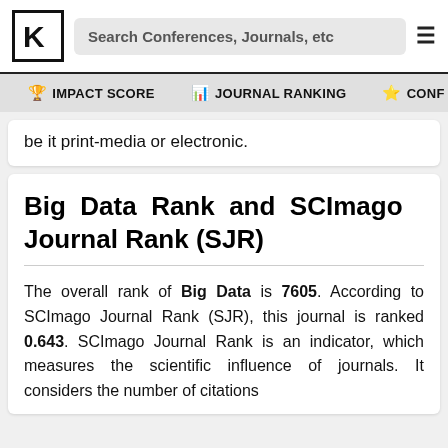[Figure (screenshot): Website navigation bar with logo (K in box), search field reading 'Search Conferences, Journals, etc', and hamburger menu icon]
🏆 IMPACT SCORE   📊 JOURNAL RANKING   ⭐ CONF…
be it print-media or electronic.
Big Data Rank and SCImago Journal Rank (SJR)
The overall rank of Big Data is 7605. According to SCImago Journal Rank (SJR), this journal is ranked 0.643. SCImago Journal Rank is an indicator, which measures the scientific influence of journals. It considers the number of citations